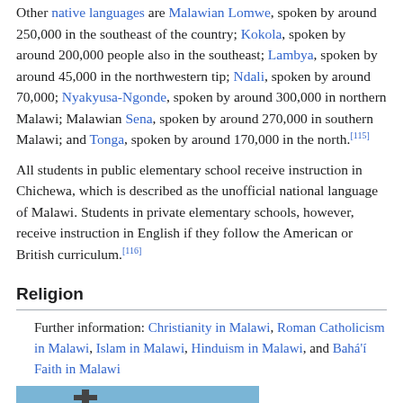Other native languages are Malawian Lomwe, spoken by around 250,000 in the southeast of the country; Kokola, spoken by around 200,000 people also in the southeast; Lambya, spoken by around 45,000 in the northwestern tip; Ndali, spoken by around 70,000; Nyakyusa-Ngonde, spoken by around 300,000 in northern Malawi; Malawian Sena, spoken by around 270,000 in southern Malawi; and Tonga, spoken by around 170,000 in the north.[115]
All students in public elementary school receive instruction in Chichewa, which is described as the unofficial national language of Malawi. Students in private elementary schools, however, receive instruction in English if they follow the American or British curriculum.[116]
Religion
Further information: Christianity in Malawi, Roman Catholicism in Malawi, Islam in Malawi, Hinduism in Malawi, and Bahá'í Faith in Malawi
[Figure (photo): Photograph of a church building with a tower topped by a cross against a blue sky]